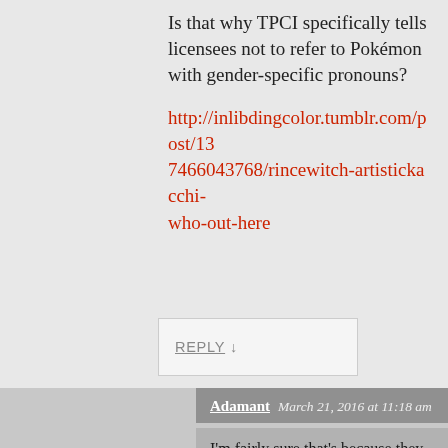Is that why TPCI specifically tells licensees not to refer to Pokémon with gender-specific pronouns?
http://inlibdingcolor.tumblr.com/post/137466043768/rincewitch-artistickacchi-who-out-here
REPLY ↓
Adamant   March 21, 2016 at 11:18 am
I'm fairly sure that's because they want to market the Pokemon as species rather than individual characters.
In terms of the anime, the gender may not be entirely clear at first either, which means a dubber may end up guessing wrong if they try using a pronoun when the original dialogue didn't have any.